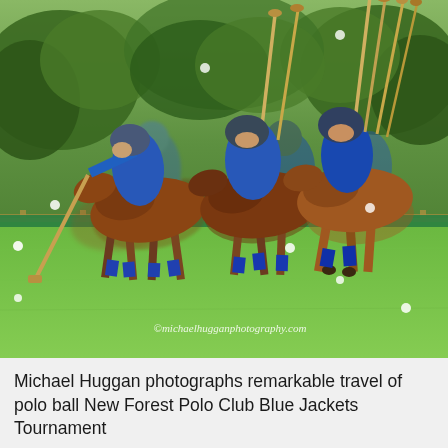[Figure (photo): A long-exposure or composite photograph showing polo players on horseback with motion blur effect, creating a dramatic image of multiple overlapping riders in blue uniforms wielding mallets. Polo balls are visible in the air. The background shows green trees and a grass field. Watermark reads '©michaelhugganphotography.com'.]
Michael Huggan photographs remarkable travel of polo ball New Forest Polo Club Blue Jackets Tournament